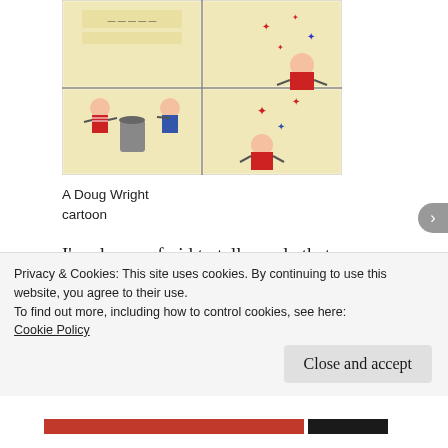[Figure (illustration): A Doug Wright cartoon showing comic strip panels with characters in red and black, on a yellowish background]
A Doug Wright
cartoon
I'm always afraid to tell people that my favourite literary magazine is Canadian Notes and Queries. The name is so off-putting. It sounds like a mimeographed sheet devoted to esoteric bibliographic information about Duncan Scott
Privacy & Cookies: This site uses cookies. By continuing to use this website, you agree to their use.
To find out more, including how to control cookies, see here:
Cookie Policy
Close and accept